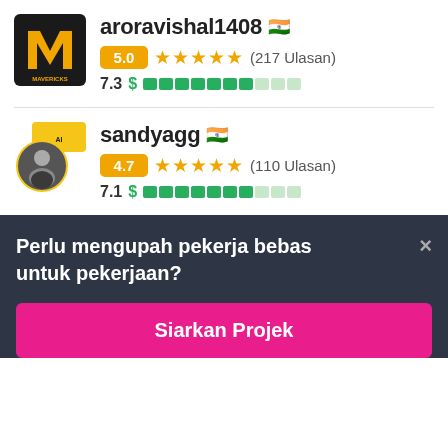[Figure (screenshot): Mavericks logo - black background with stylized M in gold/yellow]
aroravishal1408 🇮🇳
5.0 ★★★★★ (217 Ulasan)
7.3 $ ████████░░░
[Figure (photo): sandyagg profile photo - man in suit with yellow chat bubble badge overlay]
sandyagg 🇮🇳
4.7 ★★★★★ (110 Ulasan)
7.1 $ ███████░░░
Perlu mengupah pekerja bebas untuk pekerjaan?
Siarkan Projek